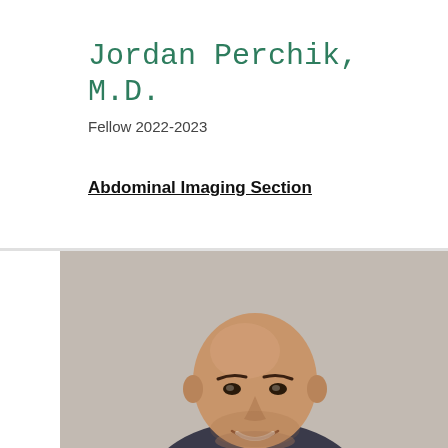Jordan Perchik, M.D.
Fellow 2022-2023
Abdominal Imaging Section
[Figure (photo): Headshot photo of Jordan Perchik M.D., a bald man smiling, against a light gray/beige textured background.]